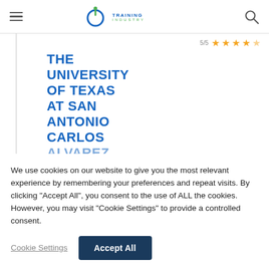Training Industry (navigation bar with hamburger menu, logo, and search icon)
THE UNIVERSITY OF TEXAS AT SAN ANTONIO CARLOS ALVAREZ
We use cookies on our website to give you the most relevant experience by remembering your preferences and repeat visits. By clicking “Accept All”, you consent to the use of ALL the cookies. However, you may visit “Cookie Settings” to provide a controlled consent.
Cookie Settings | Accept All